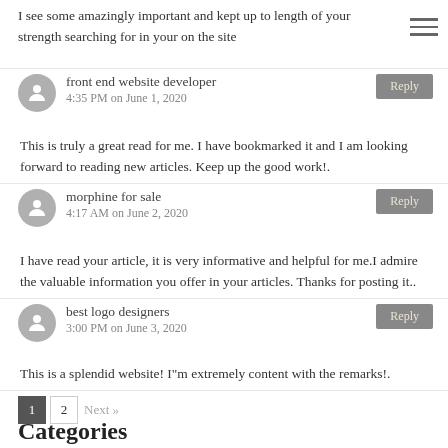11:28 AM on June 1, 2020
I see some amazingly important and kept up to length of your strength searching for in your on the site
front end website developer
4:35 PM on June 1, 2020
This is truly a great read for me. I have bookmarked it and I am looking forward to reading new articles. Keep up the good work!.
morphine for sale
4:17 AM on June 2, 2020
I have read your article, it is very informative and helpful for me.I admire the valuable information you offer in your articles. Thanks for posting it..
best logo designers
3:00 PM on June 3, 2020
This is a splendid website! I"m extremely content with the remarks!.
1  2  Next »
Categories